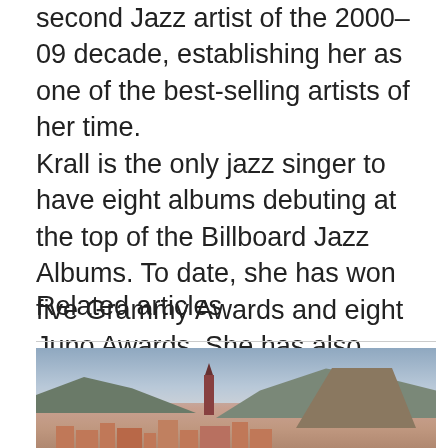second Jazz artist of the 2000–09 decade, establishing her as one of the best-selling artists of her time.
Krall is the only jazz singer to have eight albums debuting at the top of the Billboard Jazz Albums. To date, she has won five Grammy Awards and eight Juno Awards. She has also earned nine gold, three platinum, and seven multi-platinum albums.
Related articles
[Figure (photo): A landscape photo showing a historic town with terracotta-roofed buildings, a minaret or tower, and dramatic cliffs or rocky hillsides in the background under an overcast sky.]